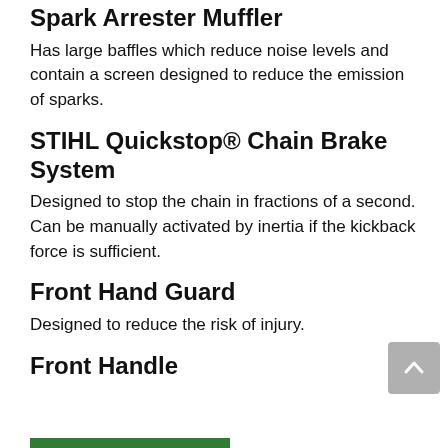Spark Arrester Muffler
Has large baffles which reduce noise levels and contain a screen designed to reduce the emission of sparks.
STIHL Quickstop® Chain Brake System
Designed to stop the chain in fractions of a second. Can be manually activated by inertia if the kickback force is sufficient.
Front Hand Guard
Designed to reduce the risk of injury.
Front Handle